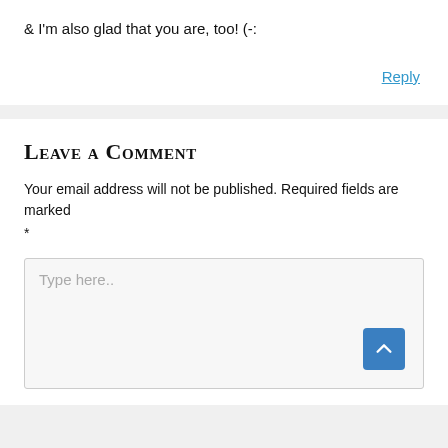& I'm also glad that you are, too! (-:
Reply
Leave a Comment
Your email address will not be published. Required fields are marked *
Type here..